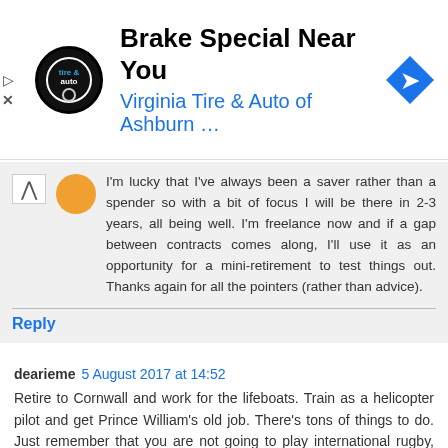[Figure (other): Ad banner for Virginia Tire & Auto of Ashburn with logo and directional arrow icon. Title: 'Brake Special Near You', subtitle: 'Virginia Tire & Auto of Ashburn …']
I'm lucky that I've always been a saver rather than a spender so with a bit of focus I will be there in 2-3 years, all being well. I'm freelance now and if a gap between contracts comes along, I'll use it as an opportunity for a mini-retirement to test things out. Thanks again for all the pointers (rather than advice).
Reply
dearieme 5 August 2017 at 14:52
Retire to Cornwall and work for the lifeboats. Train as a helicopter pilot and get Prince William's old job. There's tons of things to do. Just remember that you are not going to play international rugby, football, or cricket.